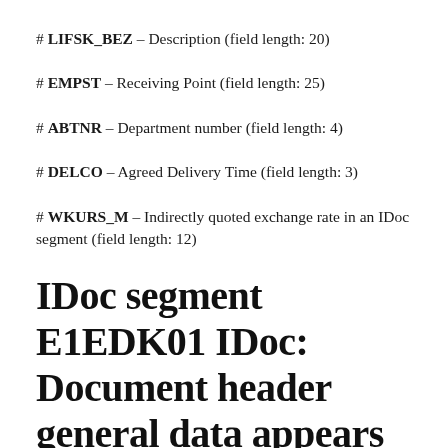# LIFSK_BEZ – Description (field length: 20)
# EMPST – Receiving Point (field length: 25)
# ABTNR – Department number (field length: 4)
# DELCO – Agreed Delivery Time (field length: 3)
# WKURS_M – Indirectly quoted exchange rate in an IDoc segment (field length: 12)
IDoc segment E1EDK01 IDoc: Document header general data appears in follwing